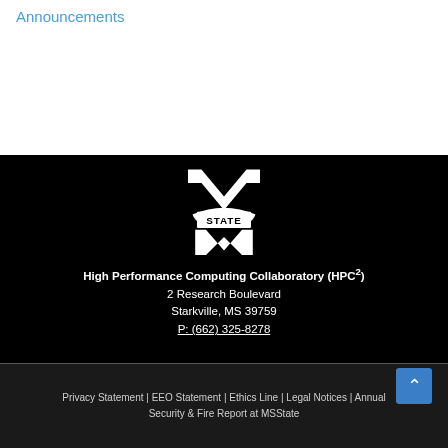Announcements
[Figure (logo): Mississippi State University M-State logo in white on black background]
High Performance Computing Collaboratory (HPC²)
2 Research Boulevard
Starkville, MS 39759
P: (662) 325-8278
Privacy Statement | EEO Statement | Ethics Line | Legal Notices | Annual Security & Fire Report at MSState